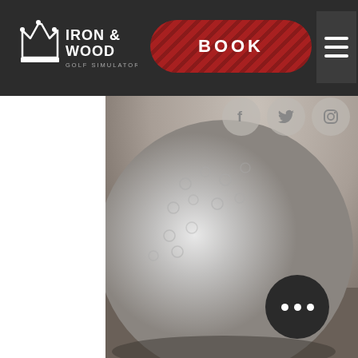[Figure (screenshot): Iron & Wood Golf Simulators website screenshot showing navigation bar with logo, red BOOK button with diagonal stripes, hamburger menu, social media icons (Facebook, Twitter, Instagram), and a close-up photograph of a golf ball resting on a sandy surface in black and white tones, with a three-dot menu button in the lower right.]